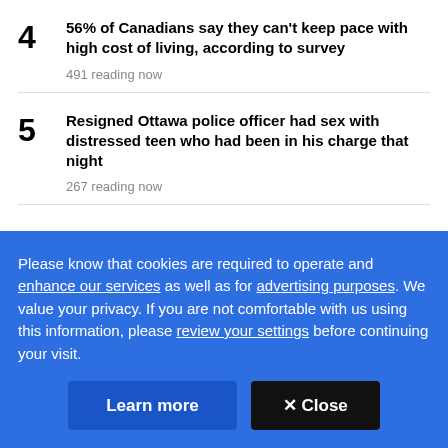4 56% of Canadians say they can't keep pace with high cost of living, according to survey — 491 reading now
5 Resigned Ottawa police officer had sex with distressed teen who had been in his charge that night — 267 reading now
Please know that cookies are required to operate and enhance our services as well as for advertising purposes. We value your privacy. If you are not comfortable with us using this information, please review your settings before continuing your visit.